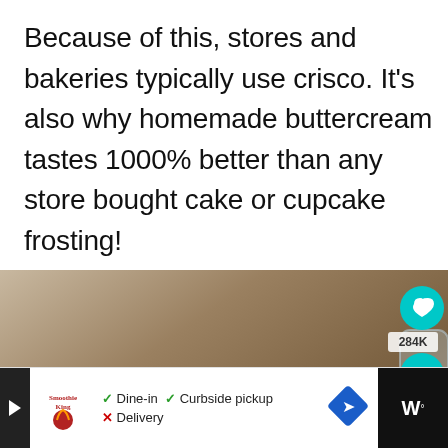Because of this, stores and bakeries typically use crisco. It's also why homemade buttercream tastes 1000% better than any store bought cake or cupcake frosting!
[Figure (photo): Close-up photo of chocolate cupcakes with swirled buttercream frosting in dark paper liners, with a heart button showing 284K saves and a share button overlay, and a 'What's Next: Cookies & Cream...' suggestion panel]
[Figure (screenshot): Advertisement bar at bottom: Smoothie King logo with Dine-in checkmark, Curbside pickup checkmark, Delivery X mark, a blue diamond navigation icon, and a dark right section with W° logo]